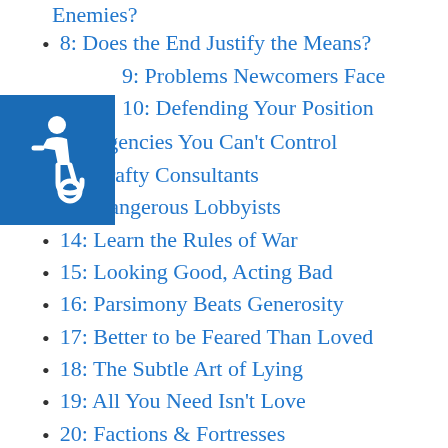Enemies?
8: Does the End Justify the Means?
9: Problems Newcomers Face
10: Defending Your Position
11: Agencies You Can't Control
12: Crafty Consultants
13: Dangerous Lobbyists
14: Learn the Rules of War
15: Looking Good, Acting Bad
16: Parsimony Beats Generosity
17: Better to be Feared Than Loved
18: The Subtle Art of Lying
19: All You Need Isn't Love
20: Factions & Fortresses
21: Saving Your Reputation
22: Loyal Staff & Wise Advisors
23: Avoid Flatterers & Sycophants
[Figure (illustration): Blue square accessibility wheelchair icon]